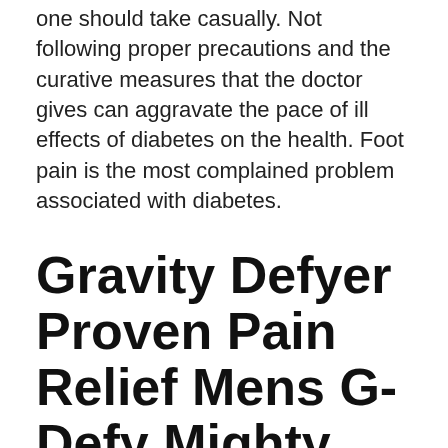one should take casually. Not following proper precautions and the curative measures that the doctor gives can aggravate the pace of ill effects of diabetes on the health. Foot pain is the most complained problem associated with diabetes.
Gravity Defyer Proven Pain Relief Mens G-Defy Mighty Walk Best
This damage and inflammation makes it difficult or even impossible for the nerves to signal sensations properly, including pain. Those dealing with foot pain for diabetic will experience nerve pain in the feet and toes, which can feel like: Burning or a